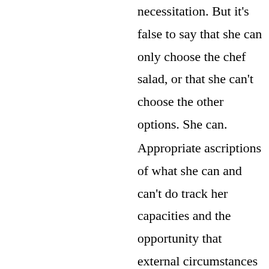necessitation. But it's false to say that she can only choose the chef salad, or that she can't choose the other options. She can. Appropriate ascriptions of what she can and can't do track her capacities and the opportunity that external circumstances give her to exercise them. Given determinism and her mental state at the time of